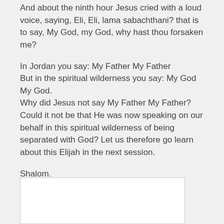And about the ninth hour Jesus cried with a loud voice, saying, Eli, Eli, lama sabachthani? that is to say, My God, my God, why hast thou forsaken me?
In Jordan you say: My Father My Father
But in the spiritual wilderness you say: My God My God.
Why did Jesus not say My Father My Father?
Could it not be that He was now speaking on our behalf in this spiritual wilderness of being separated with God? Let us therefore go learn about this Elijah in the next session.
Shalom.
Peace be unto you
[Figure (other): White rectangular box, likely an image or video placeholder]